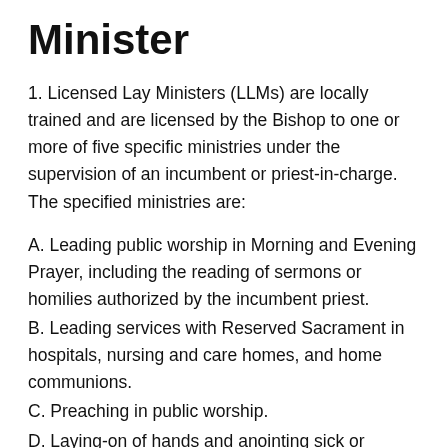Minister
1. Licensed Lay Ministers (LLMs) are locally trained and are licensed by the Bishop to one or more of five specific ministries under the supervision of an incumbent or priest-in-charge. The specified ministries are:
A. Leading public worship in Morning and Evening Prayer, including the reading of sermons or homilies authorized by the incumbent priest.
B. Leading services with Reserved Sacrament in hospitals, nursing and care homes, and home communions.
C. Preaching in public worship.
D. Laying-on of hands and anointing sick or distressed